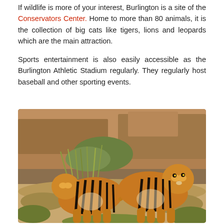If wildlife is more of your interest, Burlington is a site of the Conservators Center. Home to more than 80 animals, it is the collection of big cats like tigers, lions and leopards which are the main attraction.
Sports entertainment is also easily accessible as the Burlington Athletic Stadium regularly. They regularly host baseball and other sporting events.
[Figure (photo): A Bengal tiger standing on rocky ground with dry grass and rocky cliff backdrop, photographed in a wildlife setting.]